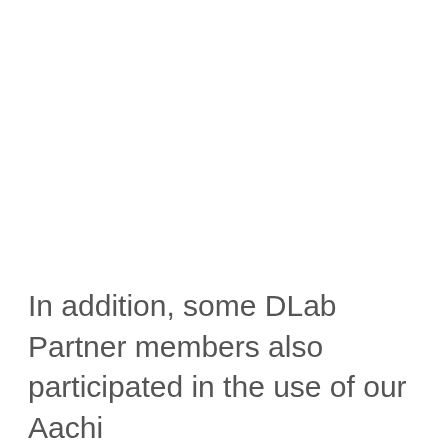In addition, some DLab Partner members also participated in the use of our Aachi...